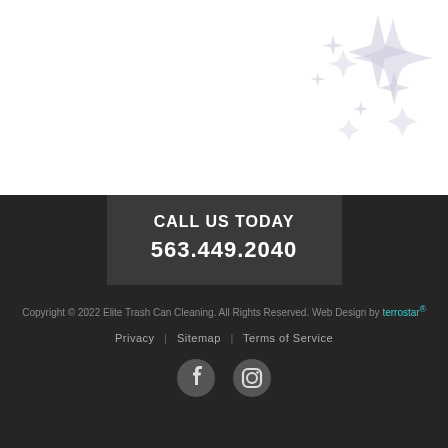[Figure (illustration): Decorative sparkle/star shapes in light lavender/grey color arranged in upper right corner of white background section]
CALL US TODAY
563.449.2040
Copyright © 2022 Elite Trash Can Cleaning. All Rights Reserved. Web Design by terrostar®
Privacy | Sitemap | Terms of Service
[Figure (illustration): Facebook and Instagram social media icons in grey circles]